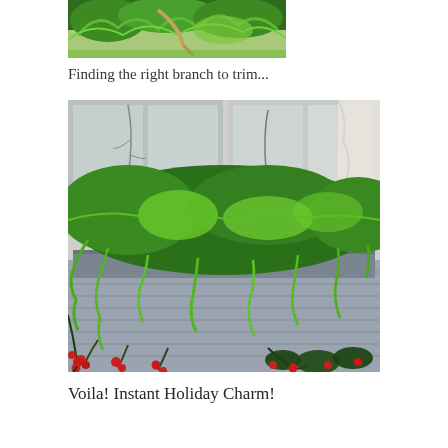[Figure (photo): Close-up of green conifer branches (arborvitae/thuja) with some dry material visible, being trimmed]
Finding the right branch to trim...
[Figure (photo): A window box planter on the exterior of a house filled with lush green evergreen branches (cedar/arborvitae) cascading over the edge, with small red berry sprigs below, windows visible in background]
Voila! Instant Holiday Charm!